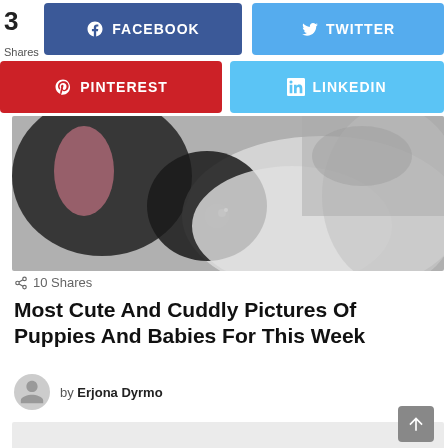3
Shares
[Figure (infographic): Social share buttons: Facebook (blue), Twitter (light blue), Pinterest (red), LinkedIn (light blue)]
[Figure (photo): Close-up photo of a puppy's face, black and white coloring, looking at camera]
10 Shares
Most Cute And Cuddly Pictures Of Puppies And Babies For This Week
by Erjona Dyrmo
[Figure (other): Advertisement placeholder box (light gray)]